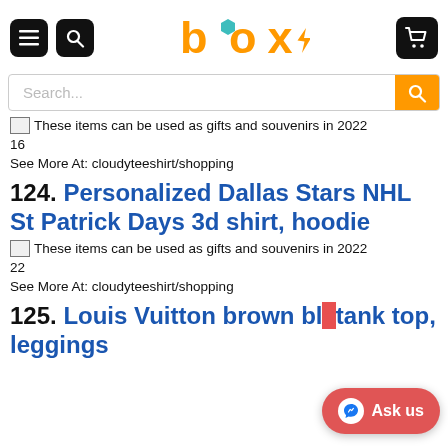[Figure (screenshot): Box shopping website header with hamburger menu, search icon, Box logo in orange, and cart icon]
[Figure (screenshot): Search bar with placeholder text 'Search...' and orange search button]
These items can be used as gifts and souvenirs in 2022 16
See More At: cloudyteeshirt/shopping
124. Personalized Dallas Stars NHL St Patrick Days 3d shirt, hoodie
These items can be used as gifts and souvenirs in 2022 22
See More At: cloudyteeshirt/shopping
125. Louis Vuitton brown bla... tank top, leggings
[Figure (other): Ask us button (Messenger) in red/pink at bottom right]